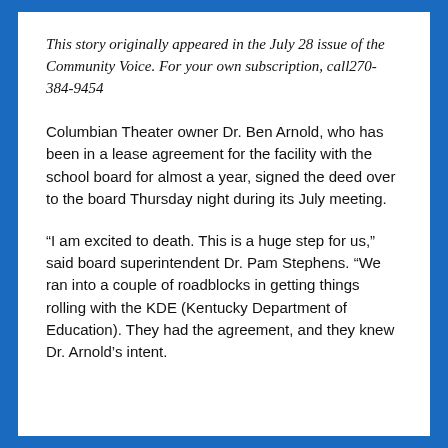This story originally appeared in the July 28 issue of the Community Voice. For your own subscription, call270-384-9454
Columbian Theater owner Dr. Ben Arnold, who has been in a lease agreement for the facility with the school board for almost a year, signed the deed over to the board Thursday night during its July meeting.
“I am excited to death. This is a huge step for us,” said board superintendent Dr. Pam Stephens. “We ran into a couple of roadblocks in getting things rolling with the KDE (Kentucky Department of Education). They had the agreement, and they knew Dr. Arnold’s intent.